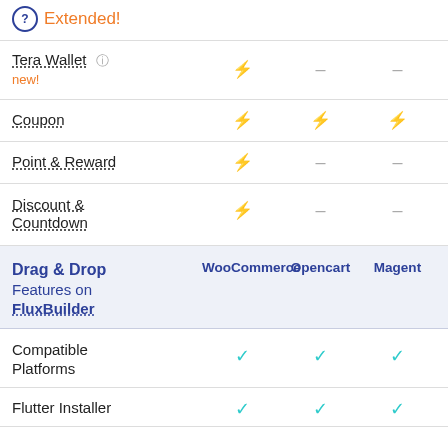Extended!
| Feature | WooCommerce | Opencart | Magento |
| --- | --- | --- | --- |
| Tera Wallet (new!) | ⚡ | – | – |
| Coupon | ⚡ | ⚡ | ⚡ |
| Point & Reward | ⚡ | – | – |
| Discount & Countdown | ⚡ | – | – |
| Drag & Drop Features on FluxBuilder | WooCommerce | Opencart | Magento |
| Compatible Platforms | ✓ | ✓ | ✓ |
| Flutter Installer | ✓ | ✓ | ✓ |